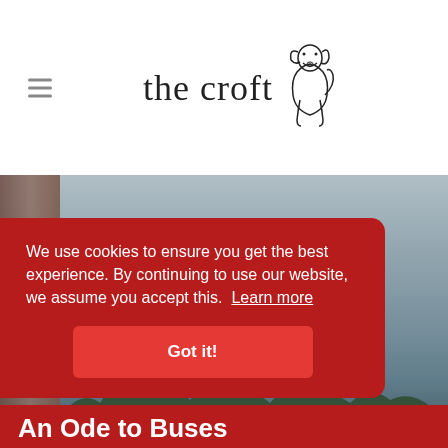[Figure (logo): The Croft website logo with text 'the croft' and a line drawing of a dog sitting]
[Figure (photo): Outdoor waterscape photo with wooden dock/pier on left, calm water and treeline in background, overcast sky]
We use cookies to ensure you get the best experience. By continuing to use our website, we assume you accept this. Learn more
Got it!
An Ode to Buses